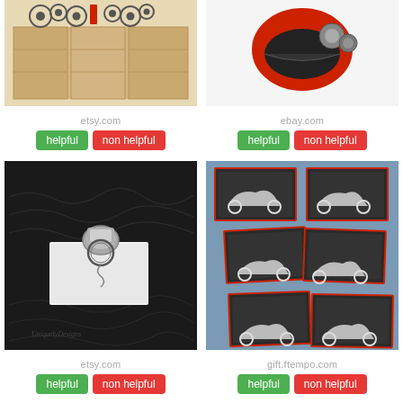[Figure (photo): Product image: wooden cabinet/drawers with gear icons on top, shown on etsy.com]
etsy.com
helpful  non helpful
[Figure (photo): Product image: motorcycle helmet with accessories, shown on ebay.com]
ebay.com
helpful  non helpful
[Figure (photo): Product image: motorcycle engine keychain on white box with cursive script background, shown on etsy.com]
etsy.com
helpful  non helpful
[Figure (photo): Product image: motorcycle sticker/card set with multiple motorcycle designs on dark background, shown on gift.ftempo.com]
gift.ftempo.com
helpful  non helpful